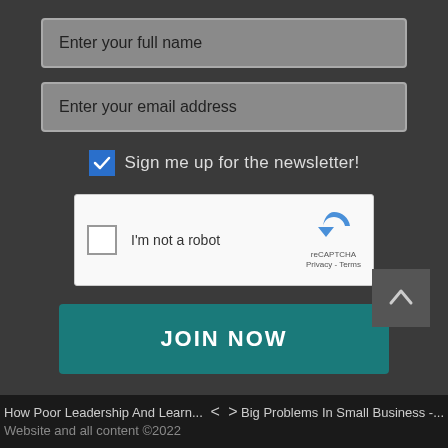[Figure (screenshot): Input field placeholder: Enter your full name]
[Figure (screenshot): Input field placeholder: Enter your email address]
Sign me up for the newsletter!
[Figure (screenshot): reCAPTCHA widget with checkbox labeled I'm not a robot]
JOIN NOW
[Figure (screenshot): Scroll-to-top button with up arrow]
How Poor Leadership And Learn... < > Big Problems In Small Business -... Website and all content ©2022